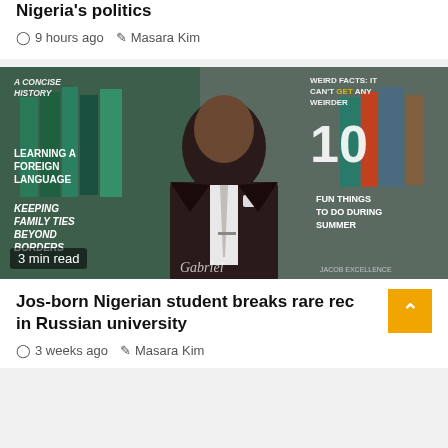Nigeria's politics
9 hours ago  Masara Kim
[Figure (photo): A Nigerian man in a dark suit and grey tie posing in front of bookshelves with book titles visible including 'A Concise History', 'Learning a Foreign Language', 'Keeping Family Ties Beyond Borders', and '10 Fun Things to Do During Summer'. Text overlay shows '3 min read' at the bottom left.]
Jos-born Nigerian student breaks rare rec in Russian university
3 weeks ago  Masara Kim